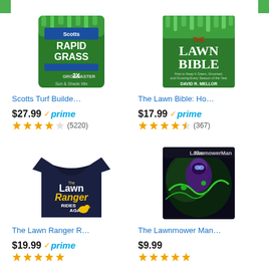[Figure (illustration): Scotts Turf Builder Rapid Grass seed bag with green grass imagery and 2X Faster label]
Scotts Turf Builde…
$27.99 prime
(5220)
[Figure (illustration): The Lawn Bible book cover by David R. Mellor with green grass and white text]
The Lawn Bible: Ho…
$17.99 prime
(367)
[Figure (illustration): The Lawn Ranger Rides Again navy blue t-shirt with yellow text and duck graphic]
The Lawn Ranger R…
$19.99 prime
[Figure (illustration): The Lawnmower Man movie poster with dark background, purple figure and green vines]
The Lawnmower Man…
$9.99